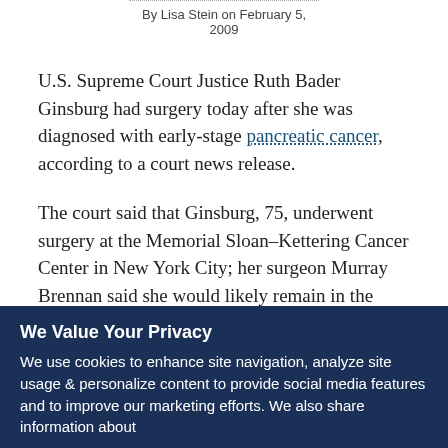By Lisa Stein on February 5, 2009
U.S. Supreme Court Justice Ruth Bader Ginsburg had surgery today after she was diagnosed with early-stage pancreatic cancer, according to a court news release.
The court said that Ginsburg, 75, underwent surgery at the Memorial Sloan–Kettering Cancer Center in New York City; her surgeon Murray Brennan said she would likely remain in the hospital for a week to 10 days.
We Value Your Privacy
We use cookies to enhance site navigation, analyze site usage & personalize content to provide social media features and to improve our marketing efforts. We also share information about